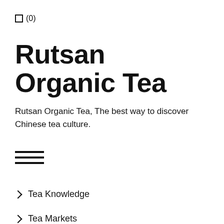□ (0)
Rutsan Organic Tea
Rutsan Organic Tea, The best way to discover Chinese tea culture.
[Figure (illustration): Hamburger menu icon with three horizontal lines]
Tea Knowledge
Tea Markets
Tea News
Tea Plantations
Tea Schools and Institute